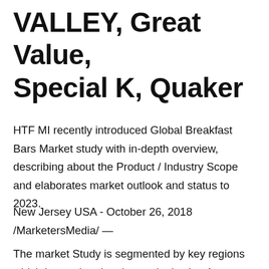VALLEY, Great Value, Special K, Quaker
HTF MI recently introduced Global Breakfast Bars Market study with in-depth overview, describing about the Product / Industry Scope and elaborates market outlook and status to 2023.
New Jersey USA - October 26, 2018 /MarketersMedia/ —
The market Study is segmented by key regions which is accelerating the marketization At most